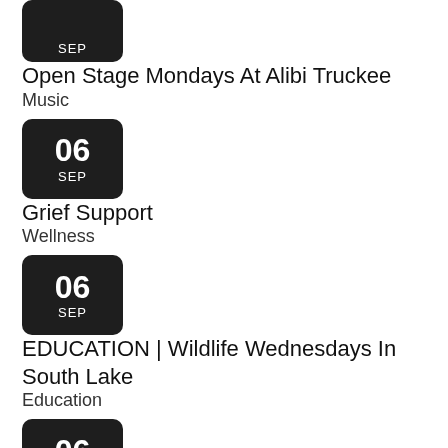[Figure (other): Date badge showing SEP (top partial, day number cut off)]
Open Stage Mondays At Alibi Truckee
Music
[Figure (other): Date badge showing 06 SEP]
Grief Support
Wellness
[Figure (other): Date badge showing 06 SEP]
EDUCATION | Wildlife Wednesdays In South Lake
Education
[Figure (other): Date badge showing 06 SEP]
Network With Fellow Local Professionals
Community